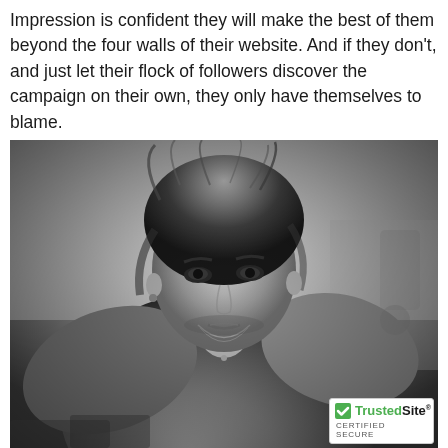Impression is confident they will make the best of them beyond the four walls of their website. And if they don't, and just let their flock of followers discover the campaign on their own, they only have themselves to blame.
[Figure (photo): Black and white portrait photo of a young shirtless male model with tousled medium-length blonde/brown hair, wearing a chain necklace, looking intensely at the camera, leaning forward slightly in what appears to be an indoor setting.]